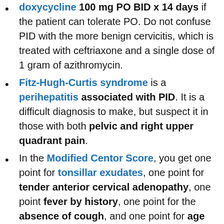doxycycline 100 mg PO BID x 14 days if the patient can tolerate PO. Do not confuse PID with the more benign cervicitis, which is treated with ceftriaxone and a single dose of 1 gram of azithromycin.
Fitz-Hugh-Curtis syndrome is a perihepatitis associated with PID. It is a difficult diagnosis to make, but suspect it in those with both pelvic and right upper quadrant pain.
In the Modified Centor Score, you get one point for tonsillar exudates, one point for tender anterior cervical adenopathy, one point fever by history, one point for the absence of cough, and one point for age